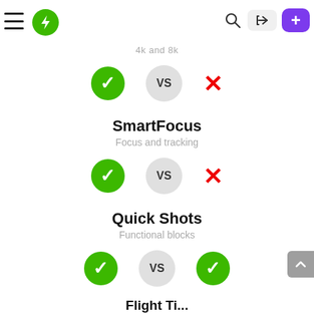[Figure (screenshot): Mobile app navigation bar with hamburger menu, green lightning bolt logo, search icon, login button with arrow icon, and purple plus button. Green bar at top.]
4k and 8k
[Figure (infographic): Comparison row: green checkmark circle on left, VS circle in center, red X on right. For 4k and 8k feature.]
SmartFocus
Focus and tracking
[Figure (infographic): Comparison row: green checkmark circle on left, VS circle in center, red X on right. For SmartFocus feature.]
Quick Shots
Functional blocks
[Figure (infographic): Comparison row: green checkmark circle on left, VS circle in center, green checkmark circle on right. For Quick Shots feature.]
Flight Ti...